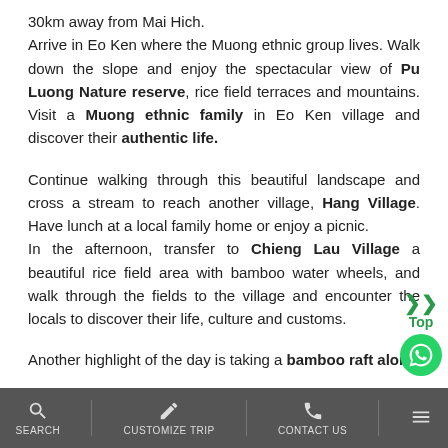30km away from Mai Hich.
Arrive in Eo Ken where the Muong ethnic group lives. Walk down the slope and enjoy the spectacular view of Pu Luong Nature reserve, rice field terraces and mountains. Visit a Muong ethnic family in Eo Ken village and discover their authentic life.

Continue walking through this beautiful landscape and cross a stream to reach another village, Hang Village. Have lunch at a local family home or enjoy a picnic.
In the afternoon, transfer to Chieng Lau Village a beautiful rice field area with bamboo water wheels, and walk through the fields to the village and encounter the locals to discover their life, culture and customs.

Another highlight of the day is taking a bamboo raft alon...
SEARCH   CUSTOMIZE TRIP   CONTACT US   [menu]